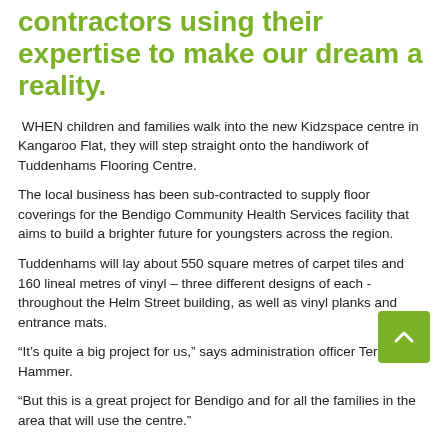contractors using their expertise to make our dream a reality.
WHEN children and families walk into the new Kidzspace centre in Kangaroo Flat, they will step straight onto the handiwork of Tuddenhams Flooring Centre.
The local business has been sub-contracted to supply floor coverings for the Bendigo Community Health Services facility that aims to build a brighter future for youngsters across the region.
Tuddenhams will lay about 550 square metres of carpet tiles and 160 lineal metres of vinyl – three different designs of each - throughout the Helm Street building, as well as vinyl planks and entrance mats.
“It’s quite a big project for us,” says administration officer Teresa Hammer.
“But this is a great project for Bendigo and for all the families in the area that will use the centre.”